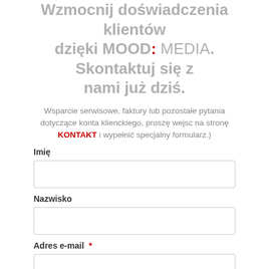Wzmocnij doświadczenia klientów dzięki MOOD: MEDIA. Skontaktuj się z nami już dziś.
Wsparcie serwisowe, faktury lub pozostałe pytania dotyczące konta klienckiego, proszę wejsc na stronę KONTAKT i wypełnić specjalny formularz.)
Imię
Nazwisko
Adres e-mail *